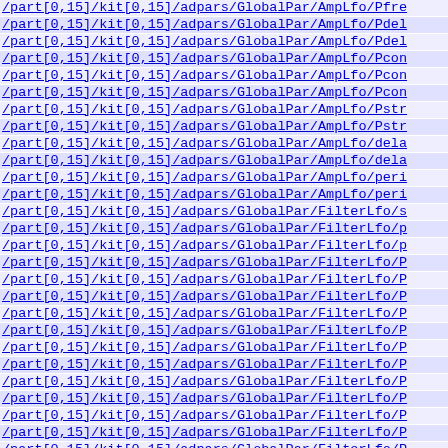/part[0,15]/kit[0,15]/adpars/GlobalPar/AmpLfo/Pfre
/part[0,15]/kit[0,15]/adpars/GlobalPar/AmpLfo/Pdel
/part[0,15]/kit[0,15]/adpars/GlobalPar/AmpLfo/Pdel
/part[0,15]/kit[0,15]/adpars/GlobalPar/AmpLfo/Pcon
/part[0,15]/kit[0,15]/adpars/GlobalPar/AmpLfo/Pcon
/part[0,15]/kit[0,15]/adpars/GlobalPar/AmpLfo/Pcon
/part[0,15]/kit[0,15]/adpars/GlobalPar/AmpLfo/Pstr
/part[0,15]/kit[0,15]/adpars/GlobalPar/AmpLfo/Pstr
/part[0,15]/kit[0,15]/adpars/GlobalPar/AmpLfo/dela
/part[0,15]/kit[0,15]/adpars/GlobalPar/AmpLfo/dela
/part[0,15]/kit[0,15]/adpars/GlobalPar/AmpLfo/peri
/part[0,15]/kit[0,15]/adpars/GlobalPar/AmpLfo/peri
/part[0,15]/kit[0,15]/adpars/GlobalPar/FilterLfo/s
/part[0,15]/kit[0,15]/adpars/GlobalPar/FilterLfo/p
/part[0,15]/kit[0,15]/adpars/GlobalPar/FilterLfo/p
/part[0,15]/kit[0,15]/adpars/GlobalPar/FilterLfo/P
/part[0,15]/kit[0,15]/adpars/GlobalPar/FilterLfo/P
/part[0,15]/kit[0,15]/adpars/GlobalPar/FilterLfo/P
/part[0,15]/kit[0,15]/adpars/GlobalPar/FilterLfo/P
/part[0,15]/kit[0,15]/adpars/GlobalPar/FilterLfo/P
/part[0,15]/kit[0,15]/adpars/GlobalPar/FilterLfo/P
/part[0,15]/kit[0,15]/adpars/GlobalPar/FilterLfo/P
/part[0,15]/kit[0,15]/adpars/GlobalPar/FilterLfo/P
/part[0,15]/kit[0,15]/adpars/GlobalPar/FilterLfo/P
/part[0,15]/kit[0,15]/adpars/GlobalPar/FilterLfo/P
/part[0,15]/kit[0,15]/adpars/GlobalPar/FilterLfo/P
/part[0,15]/kit[0,15]/adpars/GlobalPar/FilterLfo/P
/part[0,15]/kit[0,15]/adpars/GlobalPar/FilterLfo/P